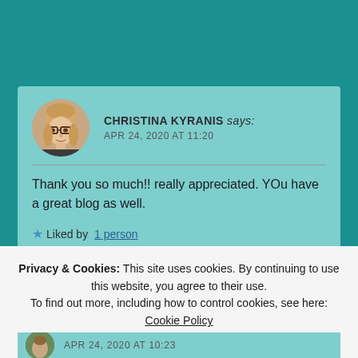[Figure (photo): Blog comment section screenshot showing a comment by Christina Kyranis with avatar photo, text, and a cookie consent banner overlay]
CHRISTINA KYRANIS says:
APR 24, 2020 AT 11:20
Thank you so much!! really appreciated. YOu have a great blog as well.
★ Liked by 1 person
Privacy & Cookies: This site uses cookies. By continuing to use this website, you agree to their use.
To find out more, including how to control cookies, see here: Cookie Policy
Close and accept
APR 24, 2020 AT 10:23